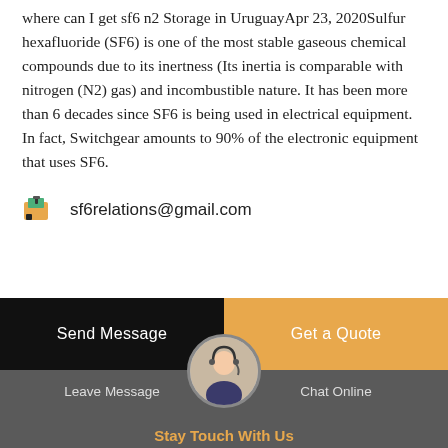where can I get sf6 n2 Storage in UruguayApr 23, 2020Sulfur hexafluoride (SF6) is one of the most stable gaseous chemical compounds due to its inertness (Its inertia is comparable with nitrogen (N2) gas) and incombustible nature. It has been more than 6 decades since SF6 is being used in electrical equipment. In fact, Switchgear amounts to 90% of the electronic equipment that uses SF6.
sf6relations@gmail.com
Send Message
Get a Quote
Leave Message   Stay Touch With Us   Chat Online